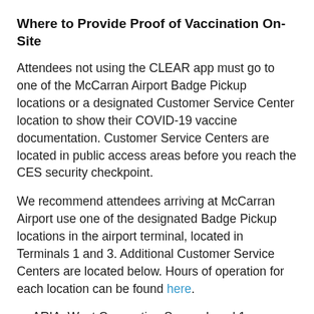Where to Provide Proof of Vaccination On-Site
Attendees not using the CLEAR app must go to one of the McCarran Airport Badge Pickup locations or a designated Customer Service Center location to show their COVID-19 vaccine documentation. Customer Service Centers are located in public access areas before you reach the CES security checkpoint.
We recommend attendees arriving at McCarran Airport use one of the designated Badge Pickup locations in the airport terminal, located in Terminals 1 and 3. Additional Customer Service Centers are located below. Hours of operation for each location can be found here.
ARIA, West Convention Space, Level 1, Bluethorn 1
LVCC, West Hall, Level 1, W102
Mandalay Bay Convention Center, Level 1, Bayside Foyer